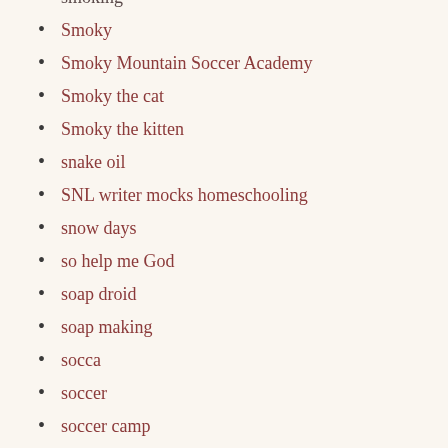smoking
Smoky
Smoky Mountain Soccer Academy
Smoky the cat
Smoky the kitten
snake oil
SNL writer mocks homeschooling
snow days
so help me God
soap droid
soap making
socca
soccer
soccer camp
soccer field
Soccer Treasure Hunt
Sochi
social studies